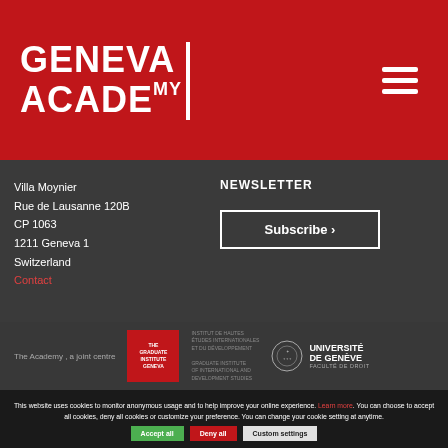[Figure (logo): Geneva Academy logo in white text on red background with vertical bar divider]
Villa Moynier
Rue de Lausanne 120B
CP 1063
1211 Geneva 1
Switzerland
Contact
NEWSLETTER
Subscribe >
The Academy , a joint centre
[Figure (logo): The Graduate Institute Geneva logo - red square with white text]
[Figure (logo): Universite de Geneve Faculte de Droit logo with crest]
This website uses cookies to monitor anonymous usage and to help improve your online experience. Learn more. You can choose to accept all cookies, deny all cookies or customize your preference. You can change your cookie setting at anytime.
Accept all
Deny all
Custom settings